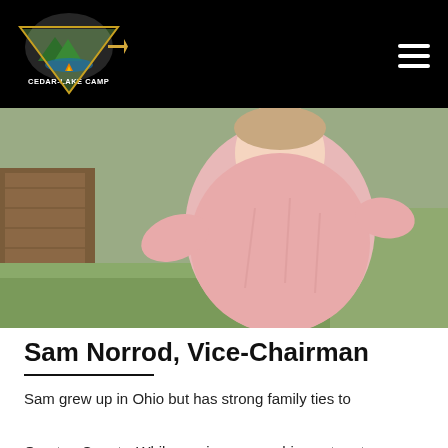Cedar-Lake Camp (navigation logo and hamburger menu)
[Figure (photo): Person wearing a pink long-sleeve shirt standing outdoors near a wooden building with a grassy field background]
Sam Norrod, Vice-Chairman
Sam grew up in Ohio but has strong family ties to Overton County. While serving as worship pastor at